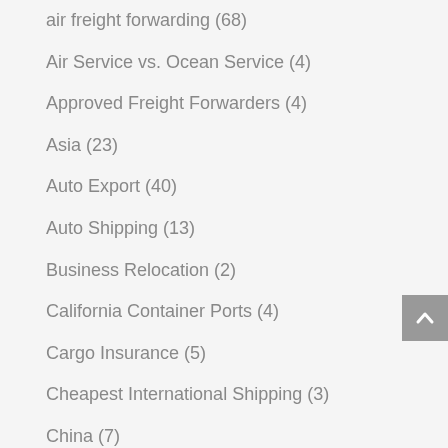air freight forwarding (68)
Air Service vs. Ocean Service (4)
Approved Freight Forwarders (4)
Asia (23)
Auto Export (40)
Auto Shipping (13)
Business Relocation (2)
California Container Ports (4)
Cargo Insurance (5)
Cheapest International Shipping (3)
China (7)
China's exports (2)